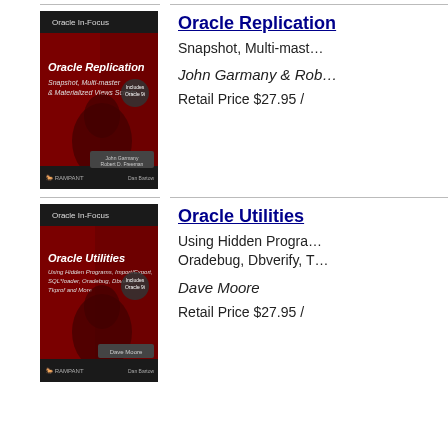[Figure (photo): Book cover: Oracle Replication - Snapshot, Multi-master & Materialized Views Scripts. Oracle In-Focus series. Authors: John Garmany & Robert D. Freeman. Rampant publisher. Red background with horse illustration.]
Oracle Replication
Snapshot, Multi-master & Materialized Views Scripts
John Garmany & Robert D. Freeman
Retail Price $27.95 /
[Figure (photo): Book cover: Oracle Utilities - Using Hidden Programs, Import/Export, SQL*loader, Oradebug, Dbverify, Tkprof and More. Oracle In-Focus series. Author: Dave Moore. Rampant publisher. Red background with horse illustration.]
Oracle Utilities
Using Hidden Programs, Import/Export, SQL*loader, Oradebug, Dbverify, Tkprof and More
Dave Moore
Retail Price $27.95 /